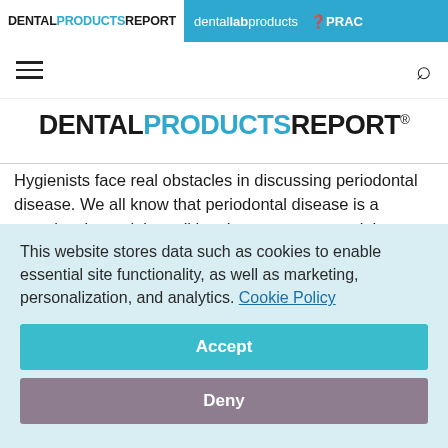DENTAL PRODUCTS REPORT | dental lab products | PRAC
[Figure (logo): Navigation bar with hamburger menu icon and search icon]
[Figure (logo): DENTAL PRODUCTS REPORT masthead logo in black and blue]
Hygienists face real obstacles in discussing periodontal disease. We all know that periodontal disease is a complex, bacterial condition that presents a real threat to the patient's oral health. In studying the oral-systemic link, it is widely
This website stores data such as cookies to enable essential site functionality, as well as marketing, personalization, and analytics. Cookie Policy
Accept
Deny